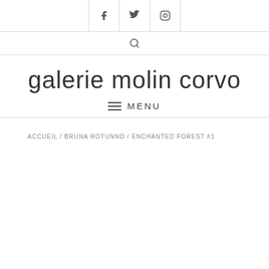f  Twitter  Instagram
search
galerie molin corvo
≡ MENU
ACCUEIL / BRUNA ROTUNNO / ENCHANTED FOREST #1